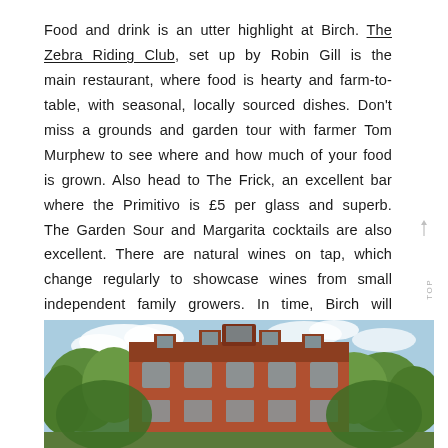Food and drink is an utter highlight at Birch. The Zebra Riding Club, set up by Robin Gill is the main restaurant, where food is hearty and farm-to-table, with seasonal, locally sourced dishes. Don't miss a grounds and garden tour with farmer Tom Murphew to see where and how much of your food is grown. Also head to The Frick, an excellent bar where the Primitivo is £5 per glass and superb. The Garden Sour and Margarita cocktails are also excellent. There are natural wines on tap, which change regularly to showcase wines from small independent family growers. In time, Birch will create its own wine blend.
[Figure (photo): Exterior photo of a large red-brick Victorian mansion or estate building with multiple stories and dormer windows, surrounded by mature green trees under a partly cloudy blue sky.]